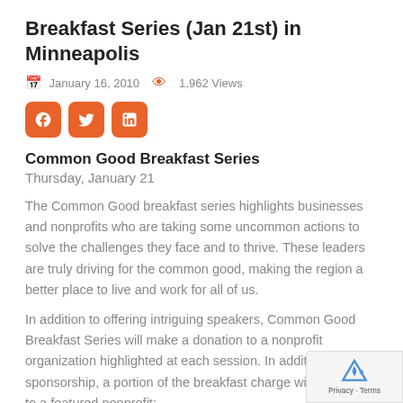Breakfast Series (Jan 21st) in Minneapolis
January 16, 2010   1,962 Views
[Figure (other): Social media share buttons: Facebook, Twitter, LinkedIn (orange rounded square icons)]
Common Good Breakfast Series
Thursday, January 21
The Common Good breakfast series highlights businesses and nonprofits who are taking some uncommon actions to solve the challenges they face and to thrive. These leaders are truly driving for the common good, making the region a better place to live and work for all of us.
In addition to offering intriguing speakers, Common Good Breakfast Series will make a donation to a nonprofit organization highlighted at each session. In addition to our sponsorship, a portion of the breakfast charge will go directly to a featured nonprofit;